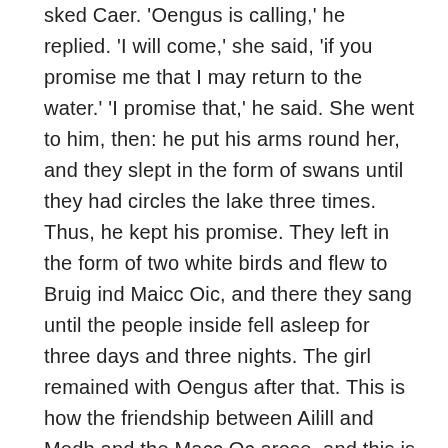sked Caer. 'Oengus is calling,' he replied. 'I will come,' she said, 'if you promise me that I may return to the water.' 'I promise that,' he said. She went to him, then: he put his arms round her, and they slept in the form of swans until they had circles the lake three times. Thus, he kept his promise. They left in the form of two white birds and flew to Bruig ind Maicc Oic, and there they sang until the people inside fell asleep for three days and three nights. The girl remained with Oengus after that. This is how the friendship between Ailill and Medb and the Macc Oc arose, and this is why Oengus took three hundred to the cattle raid of Cúailnge.